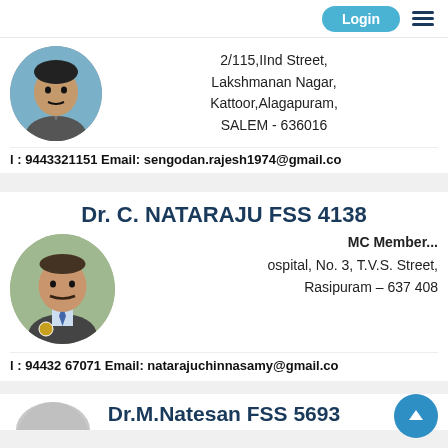Login
2/115, IInd Street, Lakshmanan Nagar, Kattoor,Alagapuram, SALEM - 636016
l : 9443321151 Email: sengodan.rajesh1974@gmail.co
Dr. C. NATARAJU FSS 4138
MC Member...
ospital, No. 3, T.V.S. Street, Rasipuram – 637 408
l : 94432 67071 Email: natarajuchinnasamy@gmail.co
Dr.M.Natesan FSS 5693